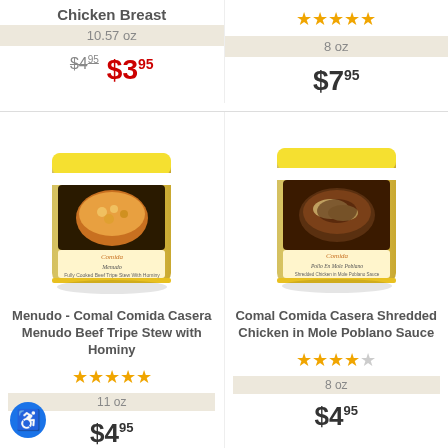Chicken Breast
10.57 oz
$4.95 $3.95
★★★★☆ (4.5 stars)
8 oz
$7.95
[Figure (photo): Menudo - Comal Comida Casera product package, yellow bag with bowl of stew]
Menudo - Comal Comida Casera Menudo Beef Tripe Stew with Hominy
★★★★★ (5 stars)
11 oz
$4.95
[Figure (photo): Comal Comida Casera Shredded Chicken in Mole Poblano Sauce product package, yellow bag]
Comal Comida Casera Shredded Chicken in Mole Poblano Sauce
★★★★☆ (3.5 stars)
8 oz
$4.95